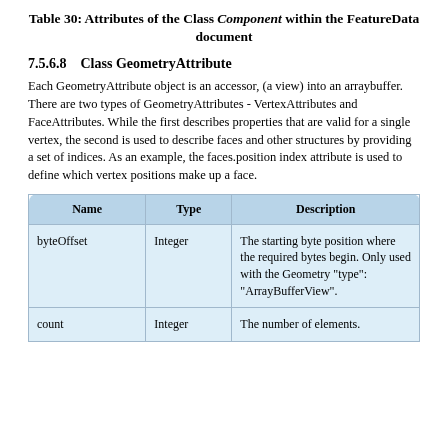Table 30: Attributes of the Class Component within the FeatureData document
7.5.6.8    Class GeometryAttribute
Each GeometryAttribute object is an accessor, (a view) into an arraybuffer. There are two types of GeometryAttributes - VertexAttributes and FaceAttributes. While the first describes properties that are valid for a single vertex, the second is used to describe faces and other structures by providing a set of indices. As an example, the faces.position index attribute is used to define which vertex positions make up a face.
| Name | Type | Description |
| --- | --- | --- |
| byteOffset | Integer | The starting byte position where the required bytes begin. Only used with the Geometry "type": "ArrayBufferView". |
| count | Integer | The number of elements. |